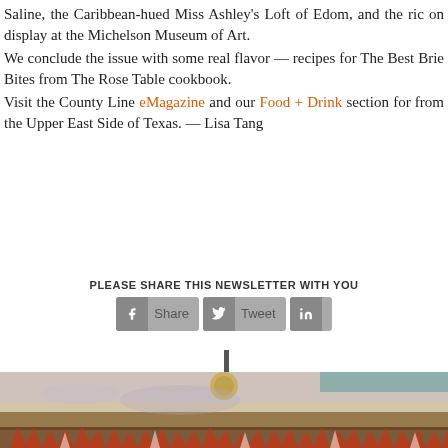Saline, the Caribbean-hued Miss Ashley's Loft of Edom, and the ric on display at the Michelson Museum of Art.
We conclude the issue with some real flavor — recipes for The Best Brie Bites from The Rose Table cookbook.
Visit the County Line eMagazine and our Food + Drink section for from the Upper East Side of Texas. — Lisa Tang
PLEASE SHARE THIS NEWSLETTER WITH YOU
[Figure (other): Abstract artwork painting showing textured landscape with earthy tones, some red and white marks at the bottom, and a small circular element near the top center.]